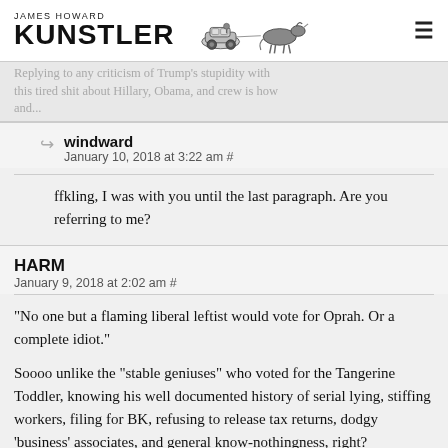JAMES HOWARD KUNSTLER
Replying to any criticism of Trump's stupidity with this tired shit about Hillary, Obama, and crew is how and...
windward
January 10, 2018 at 3:22 am #
ffkling, I was with you until the last paragraph. Are you referring to me?
HARM
January 9, 2018 at 2:02 am #
“No one but a flaming liberal leftist would vote for Oprah. Or a complete idiot.”

Soooo unlike the “stable geniuses” who voted for the Tangerine Toddler, knowing his well documented history of serial lying, stiffing workers, filing for BK, refusing to release tax returns, dodgy ‘business’ associates, and general know-nothingness, right?

I don’t think Oprah is particularly qualified to be President